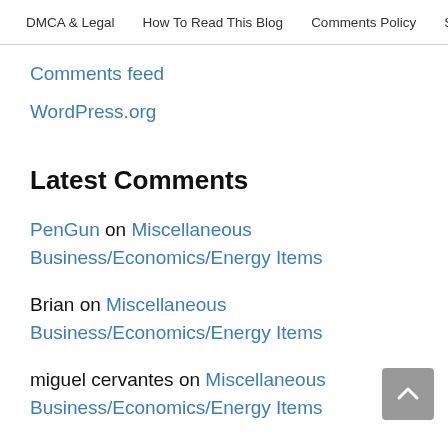DMCA & Legal | How To Read This Blog | Comments Policy | Search
Comments feed
WordPress.org
Latest Comments
PenGun on Miscellaneous Business/Economics/Energy Items
Brian on Miscellaneous Business/Economics/Energy Items
miguel cervantes on Miscellaneous Business/Economics/Energy Items
Xennady on Miscellaneous Business/Economics/Energy Items